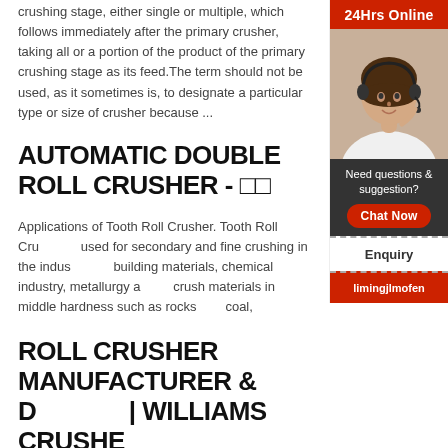crushing stage, either single or multiple, which follows immediately after the primary crusher, taking all or a portion of the product of the primary crushing stage as its feed.The term should not be used, as it sometimes is, to designate a particular type or size of crusher because ...
AUTOMATIC DOUBLE ROLL CRUSHER - □□
[Figure (photo): Customer service representative wearing headset, with '24Hrs Online' banner, chat now button, enquiry link, and limingjlmofen link in sidebar widget]
Applications of Tooth Roll Crusher. Tooth Roll Crusher is used for secondary and fine crushing in the industries of building materials, chemical industry, metallurgy and to crush materials in middle hardness such as rocks coal,
ROLL CRUSHER MANUFACTURER & D | WILLIAMS CRUSHE